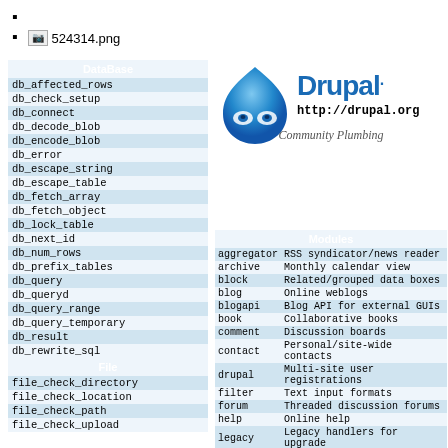■
■ 524314.png
| DataBase |
| --- |
| db_affected_rows |
| db_check_setup |
| db_connect |
| db_decode_blob |
| db_encode_blob |
| db_error |
| db_escape_string |
| db_escape_table |
| db_fetch_array |
| db_fetch_object |
| db_lock_table |
| db_next_id |
| db_num_rows |
| db_prefix_tables |
| db_query |
| db_queryd |
| db_query_range |
| db_query_temporary |
| db_result |
| db_rewrite_sql |
| db_set_active |
| db_unlock_tables |
[Figure (logo): Drupal logo - blue droplet with infinity symbol]
Drupal.
http://drupal.org
Community Plumbing
| Modules |  |
| --- | --- |
| aggregator | RSS syndicator/news reader |
| archive | Monthly calendar view |
| block | Related/grouped data boxes |
| blog | Online weblogs |
| blogapi | Blog API for external GUIs |
| book | Collaborative books |
| comment | Discussion boards |
| contact | Personal/site-wide contacts |
| drupal | Multi-site user registrations |
| filter | Text input formats |
| forum | Threaded discussion forums |
| help | Online help |
| legacy | Legacy handlers for upgrade |
| locale | Multi-lingual webs |
| menu | Customize menus |
| node | Content management |
| page | Static pages |
| path | URL aliases |
| ping | Ping to the Ping-O-Matic site |
| File |
| --- |
| file_check_directory |
| file_check_location |
| file_check_path |
| file_check_upload |